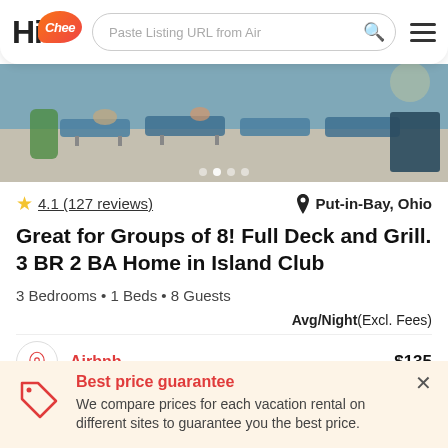Hi Chee — Paste Listing URL from Airbnb
[Figure (photo): Outdoor pool or beach area with lounge chairs and people relaxing]
4.1 (127 reviews)   Put-in-Bay, Ohio
Great for Groups of 8! Full Deck and Grill. 3 BR 2 BA Home in Island Club
3 Bedrooms • 1 Beds • 8 Guests
Avg/Night(Excl. Fees)
Airbnb   $135
Best price guarantee
We compare prices for each vacation rental on different sites to guarantee you the best price.